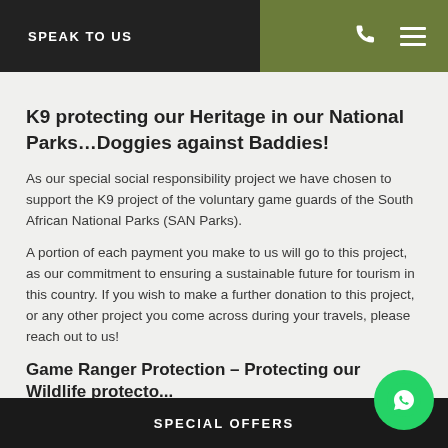SPEAK TO US
K9 protecting our Heritage in our National Parks…Doggies against Baddies!
As our special social responsibility project we have chosen to support the K9 project of the voluntary game guards of the South African National Parks (SAN Parks).
A portion of each payment you make to us will go to this project, as our commitment to ensuring a sustainable future for tourism in this country. If you wish to make a further donation to this project, or any other project you come across during your travels, please reach out to us!
Game Ranger Protection – Protecting our Wildlife protecto...
SPECIAL OFFERS